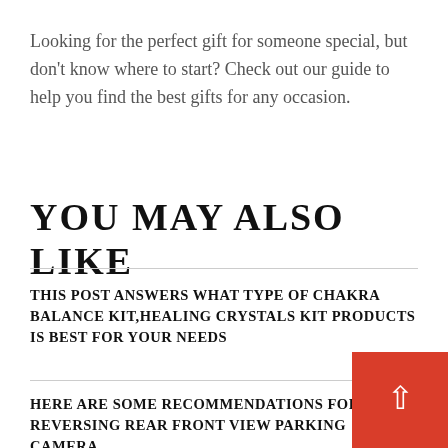Looking for the perfect gift for someone special, but don't know where to start? Check out our guide to help you find the best gifts for any occasion.
YOU MAY ALSO LIKE
THIS POST ANSWERS WHAT TYPE OF CHAKRA BALANCE KIT,HEALING CRYSTALS KIT PRODUCTS IS BEST FOR YOUR NEEDS
HERE ARE SOME RECOMMENDATIONS FOR SPE REVERSING REAR FRONT VIEW PARKING CAMERA